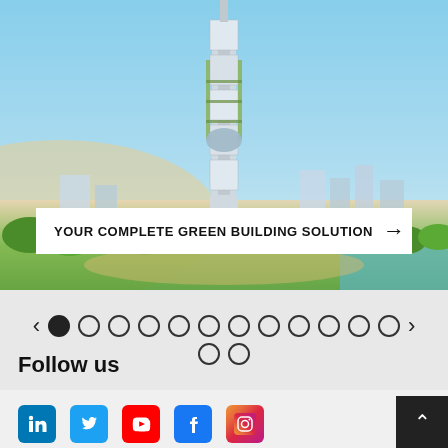[Figure (photo): Futuristic tall skyscraper tower rendering against blue sky, with green park and waterfront cityscape below]
YOUR COMPLETE GREEN BUILDING SOLUTION →
[Figure (infographic): Carousel navigation with left/right arrows and 13 dot indicators in a row, plus 2 more dots below]
Follow us
[Figure (infographic): Social media icons: LinkedIn, Twitter, YouTube, Facebook, Instagram]